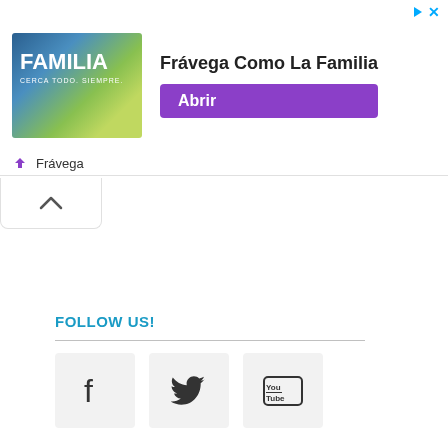[Figure (screenshot): Advertisement banner for Frávega featuring 'FAMILIA' image with group of people, text 'Frávega Como La Familia' and a purple 'Abrir' button, with Frávega branding below]
[Figure (other): Collapse/chevron-up button below the ad banner]
FOLLOW US!
[Figure (other): Social media icon buttons: Facebook, Twitter, YouTube]